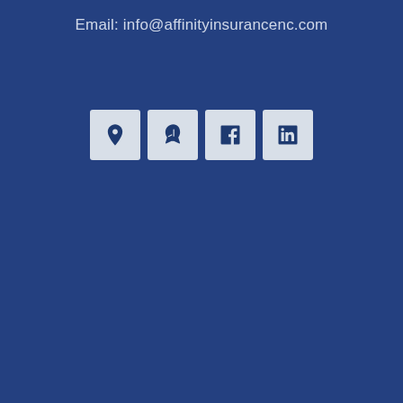Email: info@affinityinsurancenc.com
[Figure (infographic): Four social media / directory icon buttons in a row: map pin (Google Maps/location), Yelp logo, Facebook logo, LinkedIn logo. Each icon is a white square tile with a dark blue icon inside.]